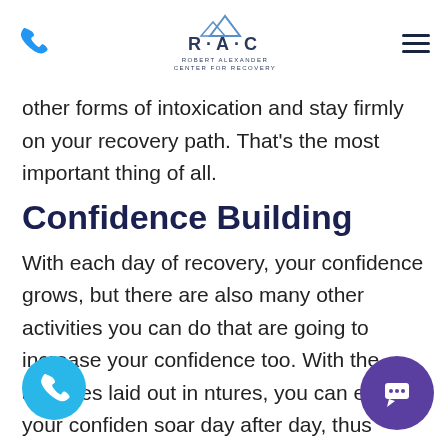RAC - Robert Alexander Center for Recovery (logo, phone icon, hamburger menu)
other forms of intoxication and stay firmly on your recovery path. That's the most important thing of all.
Confidence Building
With each day of recovery, your confidence grows, but there are also many other activities you can do that are going to increase your confidence too. With the activities laid out in ntures, you can expect your confidence to soar day after day, thus encouraging yo